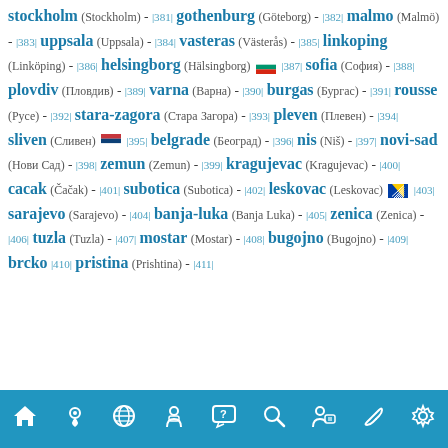stockholm (Stockholm) - |381| gothenburg (Göteborg) - |382| malmo (Malmö) - |383| uppsala (Uppsala) - |384| vasteras (Västerås) - |385| linkoping (Linköping) - |386| helsingborg (Hälsingborg) [BG flag] |387| sofia (София) - |388| plovdiv (Пловдив) - |389| varna (Варна) - |390| burgas (Бургас) - |391| rousse (Русе) - |392| stara-zagora (Стара Загора) - |393| pleven (Плевен) - |394| sliven (Сливен) [RS flag] |395| belgrade (Београд) - |396| nis (Niš) - |397| novi-sad (Нови Сад) - |398| zemun (Zemun) - |399| kragujevac (Kragujevac) - |400| cacak (Čačak) - |401| subotica (Subotica) - |402| leskovac (Leskovac) [BA flag] |403| sarajevo (Sarajevo) - |404| banja-luka (Banja Luka) - |405| zenica (Zenica) - |406| tuzla (Tuzla) - |407| mostar (Mostar) - |408| bugojno (Bugojno) - |409| brcko |410| pristina (Prishtina) - |411|
[Figure (other): Navigation footer bar with icons: home, location pin, globe, person with mask, FAQ speech bubble, magnifier, person with speech bubble, link/chain, settings gear]